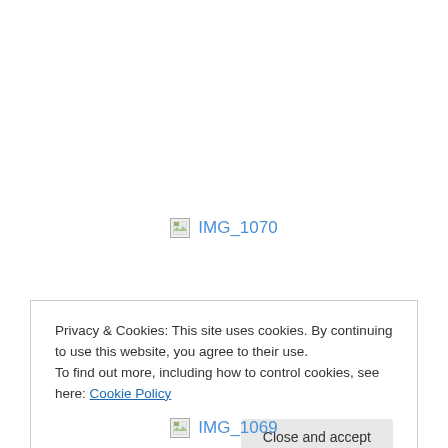[Figure (photo): Broken image placeholder with text 'IMG_1070' in blue, positioned in upper-middle area of page]
Privacy & Cookies: This site uses cookies. By continuing to use this website, you agree to their use.
To find out more, including how to control cookies, see here: Cookie Policy
Close and accept
[Figure (photo): Broken image placeholder with text 'IMG_1069' in blue, positioned at bottom of page]